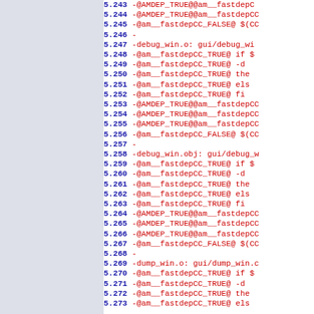[Figure (screenshot): Code diff/patch viewer showing numbered lines 5.243 through 5.273 of a Makefile or build script, with line numbers in bold blue and code content in red monospace font. Left sidebar is a light blue-gray color. Lines show fastdepCC and AMDEP_TRUE compiler automation macros.]